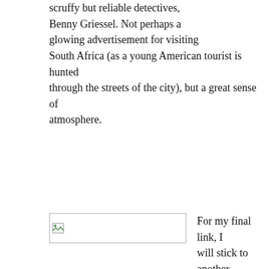scruffy but reliable detectives, Benny Griessel. Not perhaps a glowing advertisement for visiting South Africa (as a young American tourist is hunted through the streets of the city), but a great sense of atmosphere.
[Figure (other): Broken image placeholder — a small landscape icon with a border]
For my final link, I will stick to another South African writer who I think deserves to be far, far better known, but whose downfall is perhaps that she writes across all genres. Lauren Beukes is one of the most creative minds in modern fiction